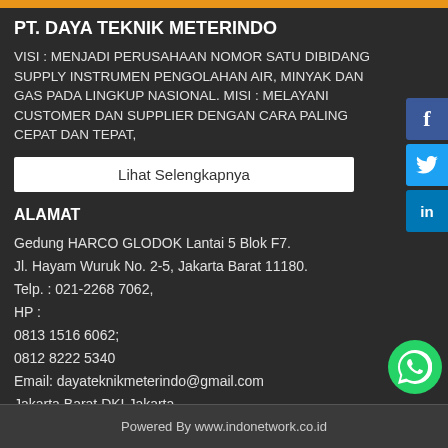PT. DAYA TEKNIK METERINDO
VISI : MENJADI PERUSAHAAN NOMOR SATU DIBIDANG SUPPLY INSTRUMEN PENGOLAHAN AIR, MINYAK DAN GAS PADA LINGKUP NASIONAL. MISI : MELAYANI CUSTOMER DAN SUPPLIER DENGAN CARA PALING CEPAT DAN TEPAT,
Lihat Selengkapnya
ALAMAT
Gedung HARCO GLODOK Lantai 5 Blok F7.
Jl. Hayam Wuruk No. 2-5, Jakarta Barat 11180.
Telp. : 021-2268 7062,
HP :
0813 1516 6062;
0812 8222 5340
Email: dayateknikmeterindo@gmail.com
Jakarta Barat DKI Jakarta
Powered By www.indonetwork.co.id